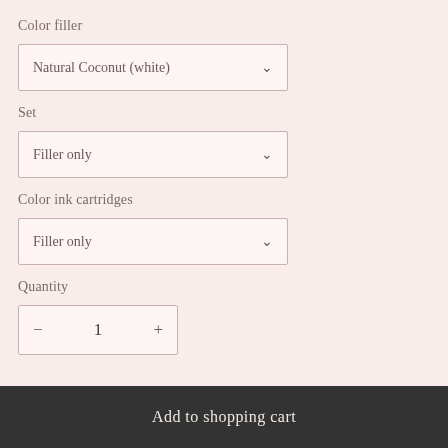Color filler
Natural Coconut (white)
Set
Filler only
Color ink cartridges
Filler only
Quantity
− 1 +
Add to shopping cart